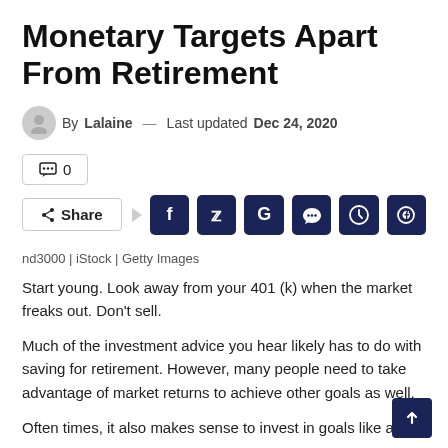Monetary Targets Apart From Retirement
By Lalaine — Last updated Dec 24, 2020
💬 0
Share [Facebook] [Twitter] [Google] [Reddit] [WhatsApp] [Pinterest]
nd3000 | iStock | Getty Images
Start young. Look away from your 401 (k) when the market freaks out. Don't sell.
Much of the investment advice you hear likely has to do with saving for retirement. However, many people need to take advantage of market returns to achieve other goals as well.
Often times, it also makes sense to invest in goals like a